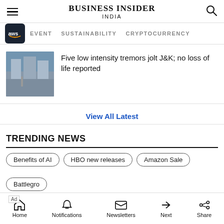BUSINESS INSIDER INDIA
EVENT   SUSTAINABILITY   CRYPTOCURRENCY
Five low intensity tremors jolt J&K; no loss of life reported
View All Latest
TRENDING NEWS
Benefits of AI
HBO new releases
Amazon Sale
Ad — They Are Coming! — Download
Home  Notifications  Newsletters  Next  Share